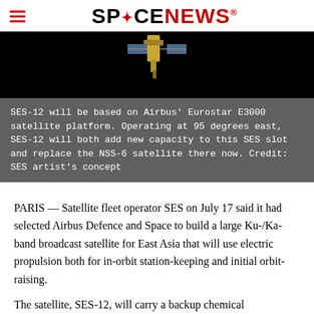SPACENEWS
[Figure (photo): Partial view of SES-12 satellite concept against black background]
SES-12 will be based on Airbus' Eurostar E3000 satellite platform. Operating at 95 degrees east, SES-12 will both add new capacity to this SES slot and replace the NSS-6 satellite there now. Credit: SES artist's concept
PARIS — Satellite fleet operator SES on July 17 said it had selected Airbus Defence and Space to build a large Ku-/Ka-band broadcast satellite for East Asia that will use electric propulsion both for in-orbit station-keeping and initial orbit-raising.
The satellite, SES-12, will carry a backup chemical